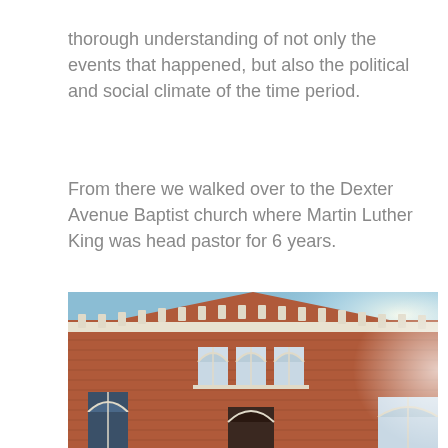thorough understanding of not only the events that happened, but also the political and social climate of the time period.
From there we walked over to the Dexter Avenue Baptist church where Martin Luther King was head pastor for 6 years.
[Figure (photo): Exterior photograph of the Dexter Avenue Baptist Church, a red brick building with white-trimmed arched Gothic windows, ornate cornice with decorative brackets, taken from a low angle against a bright blue sky.]